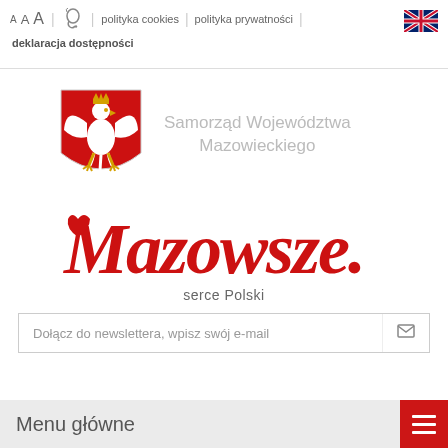A A A | [hearing icon] | polityka cookies | polityka prywatności | deklaracja dostępności [UK flag]
[Figure (logo): Coat of arms of Mazowieckie Voivodeship — red shield with white eagle]
Samorząd Województwa Mazowieckiego
[Figure (logo): Mazowsze serce Polski red cursive logo text]
serce Polski
Dołącz do newslettera, wpisz swój e-mail
Menu główne